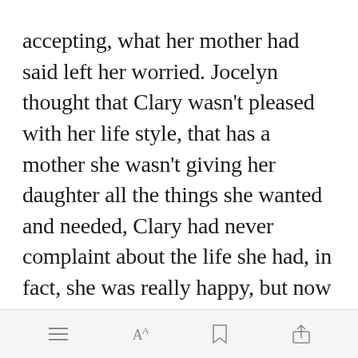accepting, what her mother had said left her worried. Jocelyn thought that Clary wasn't pleased with her life style, that has a mother she wasn't giving her daughter all the things she wanted and needed, Clary had never complaint about the life she had, in fact, she was really happy, but now she could only feel guilty for making her mother think something like that and for being
[Figure (screenshot): Green 'Open in app' button overlay on the text]
toolbar with menu, font size, bookmark, and share icons